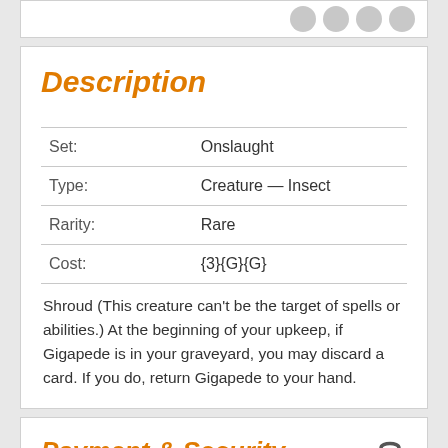Description
| Field | Value |
| --- | --- |
| Set: | Onslaught |
| Type: | Creature — Insect |
| Rarity: | Rare |
| Cost: | {3}{G}{G} |
Shroud (This creature can't be the target of spells or abilities.) At the beginning of your upkeep, if Gigapede is in your graveyard, you may discard a card. If you do, return Gigapede to your hand.
Payment & Security